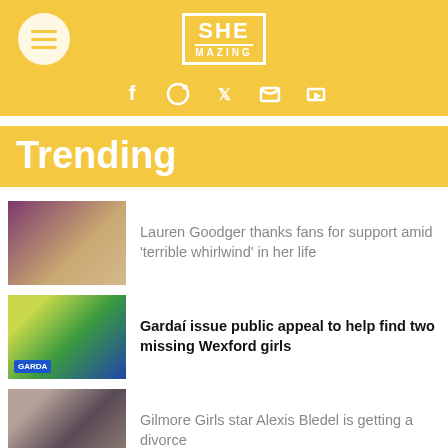SHE MAZING
Trending
Lauren Goodger thanks fans for support amid ‘terrible whirlwind’ in her life
Gardaí issue public appeal to help find two missing Wexford girls
Gilmore Girls star Alexis Bledel is getting a divorce
Our favourite products to keep your skin fresh, hydrated...